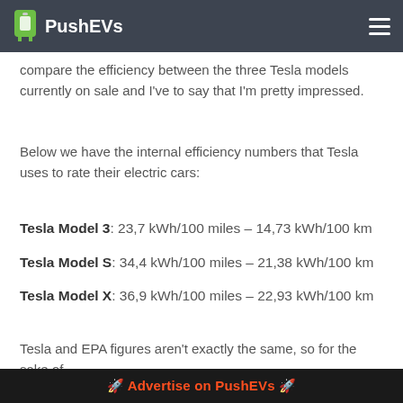PushEVs
compare the efficiency between the three Tesla models currently on sale and I've to say that I'm pretty impressed.
Below we have the internal efficiency numbers that Tesla uses to rate their electric cars:
Tesla Model 3: 23,7 kWh/100 miles – 14,73 kWh/100 km
Tesla Model S: 34,4 kWh/100 miles – 21,38 kWh/100 km
Tesla Model X: 36,9 kWh/100 miles – 22,93 kWh/100 km
Tesla and EPA figures aren't exactly the same, so for the sake of
Advertise on PushEVs